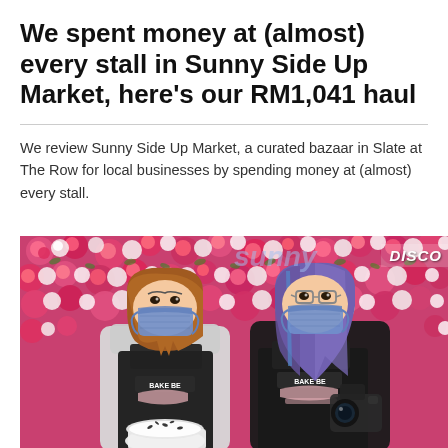We spent money at (almost) every stall in Sunny Side Up Market, here's our RM1,041 haul
We review Sunny Side Up Market, a curated bazaar in Slate at The Row for local businesses by spending money at (almost) every stall.
[Figure (photo): Two women wearing blue face masks and black aprons with 'BAKE BE' logo standing in front of a floral wall backdrop. The woman on the left has straight brown hair and holds a cake. The woman on the right has long purple/blue highlighted hair and holds a camera. There is a 'DISCO' text watermark in the top right corner.]